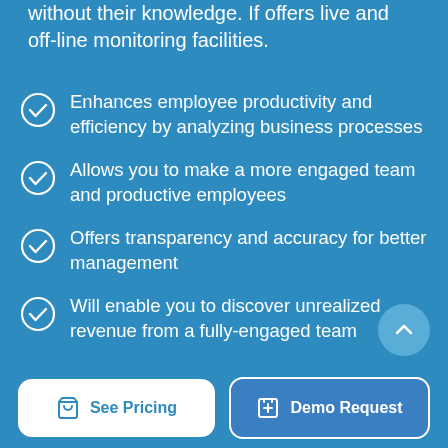without their knowledge. If offers live and off-line monitoring facilities.
Enhances employee productivity and efficiency by analyzing business processes
Allows you to make a more engaged team and productive employees
Offers transparency and accuracy for better management
Will enable you to discover unrealized revenue from a fully-engaged team
See Pricing
Demo Request